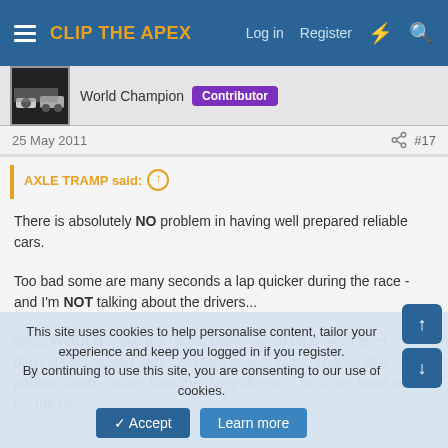CLIP THE APEX | Log in | Register
World Champion  Contributor
25 May 2011  #17
AXLE TRAMP said:
There is absolutely NO problem in having well prepared reliable cars.
Too bad some are many seconds a lap quicker during the race - and I'm NOT talking about the drivers...
What WOULD make the racing better would be a more level playing field to start with. i.e. More drivers with a chance of a podium finish - rather than the "Magnificent 7" or so we have now. It's the car. ALWAYS the car...
This site uses cookies to help personalise content, tailor your experience and keep you logged in if you register.
By continuing to use this site, you are consenting to our use of cookies.